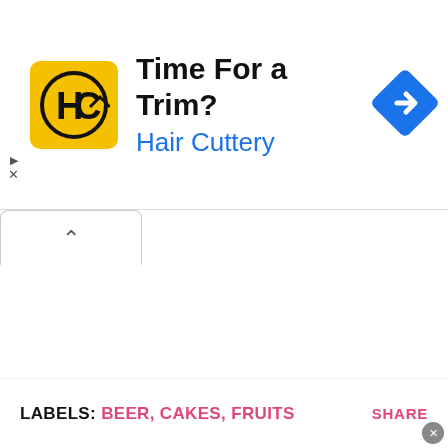[Figure (advertisement): Hair Cuttery advertisement banner with yellow HC logo, headline 'Time For a Trim?', subtext 'Hair Cuttery' in blue, and a blue diamond navigation icon on the right.]
[Figure (screenshot): A tab/accordion UI element showing a caret-up (^) symbol indicating a collapsed or expandable panel.]
LABELS: BEER, CAKES, FRUITS
SHARE